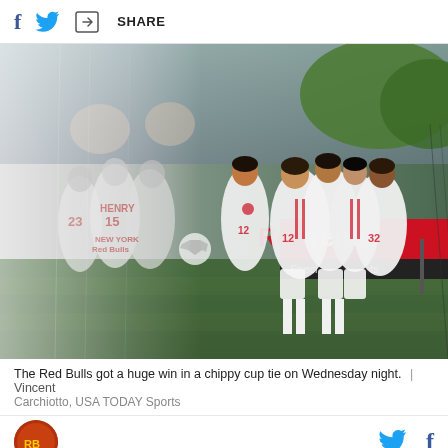f [twitter icon] [share icon] SHARE
[Figure (photo): New York Red Bulls players celebrating a goal on the field. Players in white Red Bulls jerseys with numbers 15, 23, 12. Background shows spectators and advertising boards reading 'Red Bull Arena'. Left side of image is faded/grayscale showing earlier celebration, right side is full color.]
The Red Bulls got a huge win in a chippy cup tie on Wednesday night. | Vincent Carchiotto, USA TODAY Sports
[Red Bulls logo] [twitter icon] f